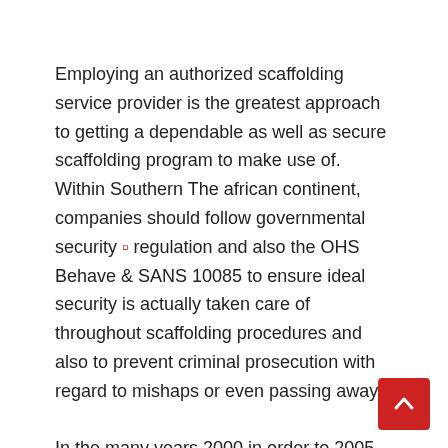Employing an authorized scaffolding service provider is the greatest approach to getting a dependable as well as secure scaffolding program to make use of. Within Southern The african continent, companies should follow governmental security ■ regulation and also the OHS Behave & SANS 10085 to ensure ideal security is actually taken care of throughout scaffolding procedures and also to prevent criminal prosecution with regard to mishaps or even passing away.
In the many years 2000 in order to 2005, there have been 3999 accidental injuries in the uk brought on by numerous mishaps upon building